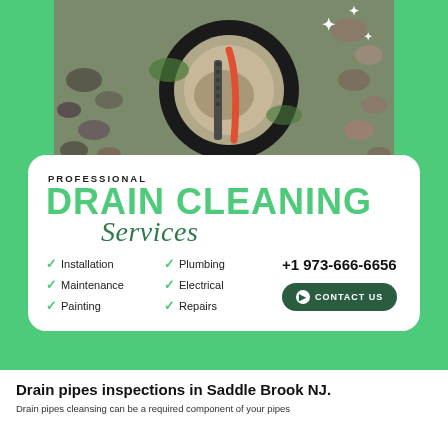[Figure (photo): Aerial view of a drain pipe inspection with a drain snake/hose inserted into a circular drain opening, surrounded by rocks and debris, with sparkle star overlays]
PROFESSIONAL
DRAIN CLEANING Services
Installation
Maintenance
Painting
Plumbing
Electrical
Repairs
+1 973-666-6656
CONTACT US
Drain pipes inspections in Saddle Brook NJ.
Drain pipes cleansing can be a required component of your pipes